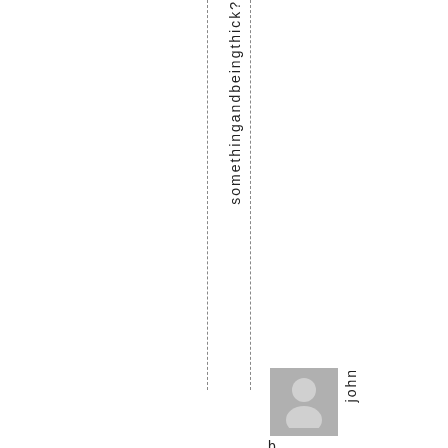somethingandbeingtthick?
[Figure (illustration): User avatar placeholder icon — grey square with a white silhouette of a person]
john
b